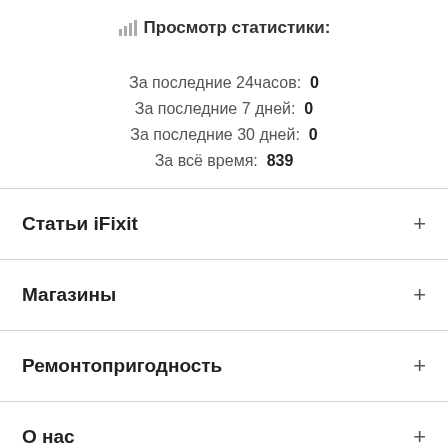Просмотр статистики:
За последние 24часов:  0
За последние 7 дней:  0
За последние 30 дней:  0
За всё время:  839
Статьи iFixit
Магазины
Ремонтопригодность
О нас